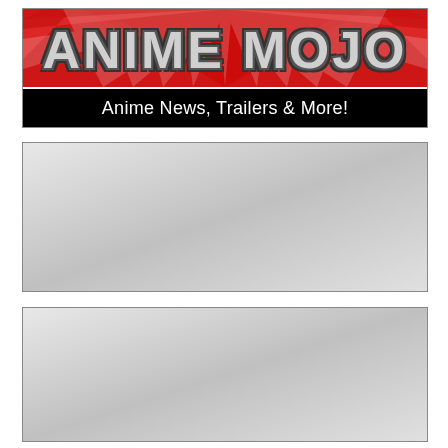[Figure (logo): Anime Mojo logo banner: red background with white sunburst rays, bold silvery/gray text reading 'ANIME MOJO', black bar below with white text 'Anime News, Trailers & More!']
[Figure (other): Gray gradient placeholder box (first)]
[Figure (other): Gray gradient placeholder box (second)]